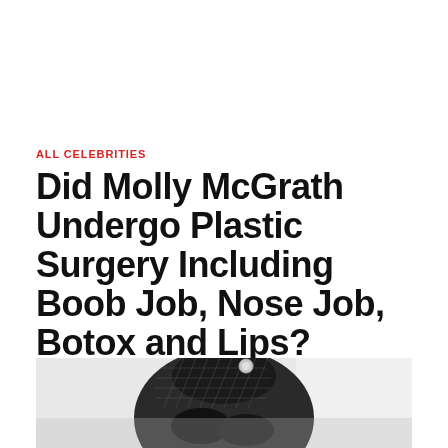ALL CELEBRITIES
Did Molly McGrath Undergo Plastic Surgery Including Boob Job, Nose Job, Botox and Lips?
[Figure (photo): Black and white photo of a person wearing a black outfit with a decorative net/veil headpiece and gloved hands, photographed against a light background]